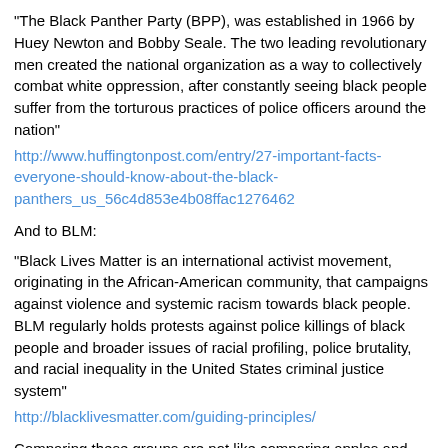“The Black Panther Party (BPP), was established in 1966 by Huey Newton and Bobby Seale. The two leading revolutionary men created the national organization as a way to collectively combat white oppression, after constantly seeing black people suffer from the torturous practices of police officers around the nation”
http://www.huffingtonpost.com/entry/27-important-facts-everyone-should-know-about-the-black-panthers_us_56c4d853e4b08ffac1276462
And to BLM:
“Black Lives Matter is an international activist movement, originating in the African-American community, that campaigns against violence and systemic racism towards black people. BLM regularly holds protests against police killings of black people and broader issues of racial profiling, police brutality, and racial inequality in the United States criminal justice system”
http://blacklivesmatter.com/guiding-principles/
Comparing these groups are not like comparing apples and